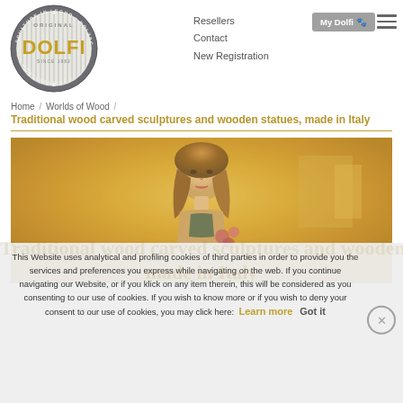[Figure (logo): Circular Dolfi woodcarvings logo with text 'ORIGINAL DOLFI SINCE 1882 SCULTURE IN LEGNO HOLZSCHNITZEREIEN WOODCARVINGS' around a grey badge]
Resellers
Contact
New Registration
My Dolfi 🐾
≡
Home / Worlds of Wood /
Traditional wood carved sculptures and wooden statues, made in Italy
[Figure (photo): Close-up photo of a hand-carved wooden female statue/figurine with flowers, warm golden/amber tones, workshop in background]
This Website uses analytical and profiling cookies of third parties in order to provide you the services and preferences you express while navigating on the web. If you continue navigating our Website, or if you klick on any item therein, this will be considered as you consenting to our use of cookies. If you wish to know more or if you wish to deny your consent to our use of cookies, you may click here: Learn more   Got it